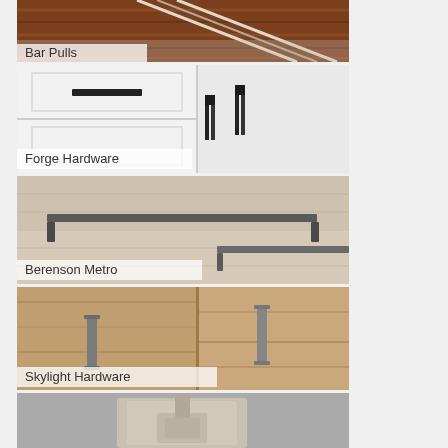[Figure (photo): Close-up photo of bar pulls hardware on a wooden drawer/cabinet surface with warm brown wood grain]
Bar Pulls
[Figure (photo): Photo of Forge Hardware black cabinet pulls on white painted cabinet doors and drawers]
Forge Hardware
[Figure (photo): Photo of Berenson Metro bar pulls on a light wood/laminate surface showing angular modern design]
Berenson Metro
[Figure (photo): Photo of Skylight Hardware cabinet pulls on natural wood cabinet doors showing modern square bar design]
Skylight Hardware
[Figure (photo): Partial photo of brushed nickel cabinet hardware on gray surface, cut off at bottom of page]